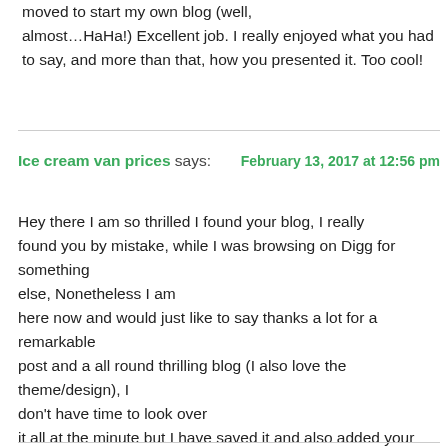moved to start my own blog (well, almost…HaHa!) Excellent job. I really enjoyed what you had to say, and more than that, how you presented it. Too cool!
Ice cream van prices says:   February 13, 2017 at 12:56 pm
Hey there I am so thrilled I found your blog, I really found you by mistake, while I was browsing on Digg for something else, Nonetheless I am here now and would just like to say thanks a lot for a remarkable post and a all round thrilling blog (I also love the theme/design), I don't have time to look over it all at the minute but I have saved it and also added your RSS feeds, so when I have time I will be back to read more, Please do keep up the awesome job.